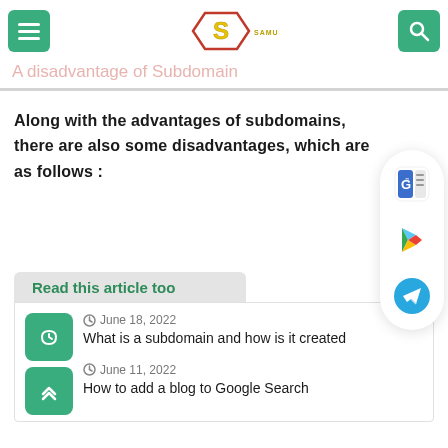SAMURAI.SITE
A disadvantage of Subdomain
Along with the advantages of subdomains, there are also some disadvantages, which are as follows :
Read this article too
June 18, 2022
What is a subdomain and how is it created
June 11, 2022
How to add a blog to Google Search